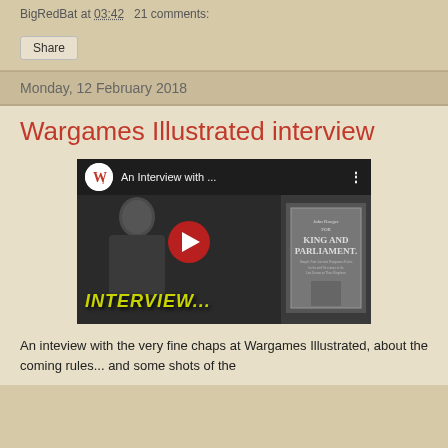BigRedBat at 03:42   21 comments:
Share
Monday, 12 February 2018
Wargames Illustrated interview
[Figure (screenshot): Embedded YouTube video thumbnail showing an interview video titled 'An Interview with ...' with the Wargames Illustrated logo, a person being interviewed, INTERVIEW... text in yellow-green, and a book cover for 'FOR KING AND PARLIAMENT' visible on the right side. A red play button is centered on the thumbnail.]
An inteview with the very fine chaps at Wargames Illustrated, about the coming rules... and some shots of the